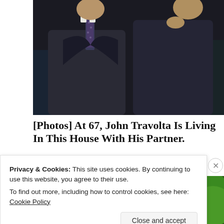[Figure (photo): Two men in dark suits, one wearing a polka-dot tie, photographed from mid-chest up against a dark background.]
[Photos] At 67, John Travolta Is Living In This House With His Partner.
Medicare Records
[Figure (photo): Aerial or close-up view of a wooden structure with dark canvas or tarp cover, surrounded by green foliage and trees.]
Privacy & Cookies: This site uses cookies. By continuing to use this website, you agree to their use. To find out more, including how to control cookies, see here: Cookie Policy
Close and accept